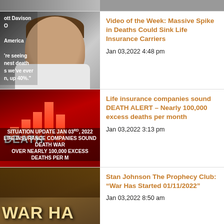[Figure (screenshot): Partial top strip of a news thumbnail image]
[Figure (photo): Man speaking on video with text overlay: 'ott Davison', 'O', 'America', 're seeing', 'nest death', 's we've ever', 'n, up 40%.']
Video of the Week: Massive Spike in Deaths Could Sink Life Insurance Carriers
Jan 03,2022 4:48 pm
[Figure (photo): Red graphic with bar chart and 'DEATH' text, 'SITUATION UPDATE JAN 03RD, 2022', 'LIFE INSURANCE COMPANIES SOUND DEATH WAR... OVER NEARLY 100,000 EXCESS DEATHS PER M...']
Life insurance companies sound DEATH ALERT – Nearly 100,000 excess deaths per month
Jan 03,2022 3:13 pm
[Figure (photo): War movie-style graphic with 'WAR HA...' text in gold letters]
Stan Johnson The Prophecy Club: “War Has Started 01/11/2022”
Jan 03,2022 8:50 am